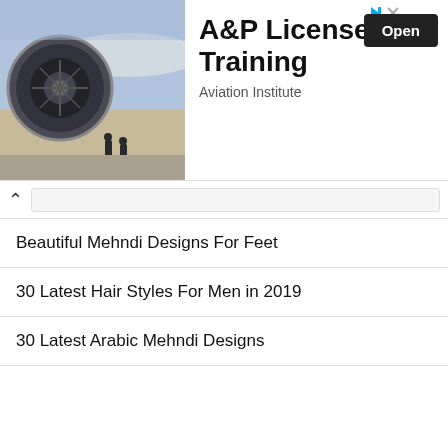[Figure (photo): Advertisement banner showing airplane engine with mechanics, promoting A&P License Training by Aviation Institute with an Open button]
Beautiful Mehndi Designs For Feet
30 Latest Hair Styles For Men in 2019
30 Latest Arabic Mehndi Designs